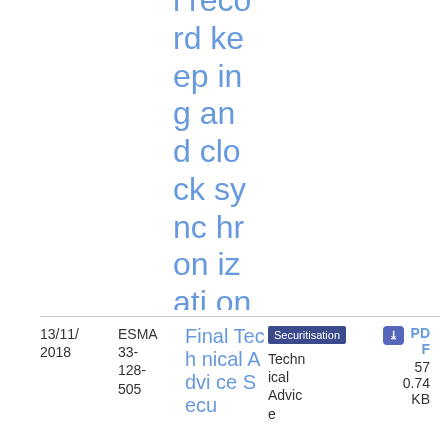l recordkeeping and clock synchronization under MiFID II
| Date | Reference | Title | Topic | Type | Size |
| --- | --- | --- | --- | --- | --- |
| 13/11/2018 | ESMA 33-128-505 | Final Technical Advice Secu... | Securitisation | Technical Advice | PDF 57 0.74 KB |